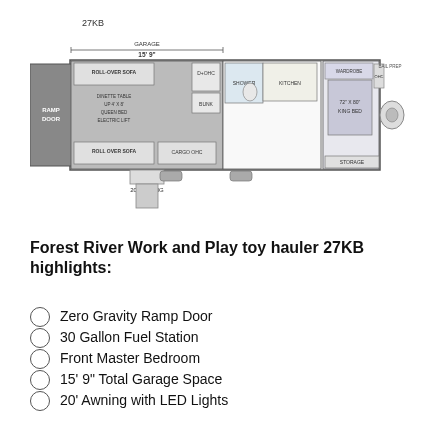[Figure (schematic): Floor plan schematic of Forest River Work and Play toy hauler 27KB showing ramp door garage area (15'9"), roll-over sofa, cargo area, dinette, bathroom, kitchen, front master bedroom with 72"x80" king bed, and hitching components. Labels include: 27KB, RAMP DOOR, ROLL-OVER SOFA, GARAGE (15'9"), D+OHC, CARGO OHC, 20' AWNING, STORAGE, 72"X80" KING BED, OHC, BAIL PREP, WARDROBE]
Forest River Work and Play toy hauler 27KB highlights:
Zero Gravity Ramp Door
30 Gallon Fuel Station
Front Master Bedroom
15' 9" Total Garage Space
20' Awning with LED Lights